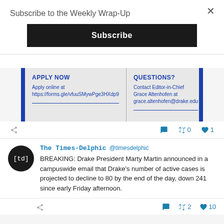Subscribe to the Weekly Wrap-Up
Subscribe
[Figure (infographic): Apply Now / Questions panel with two columns. Left: APPLY NOW - Apply online at https://forms.gle/vfuuSMywPge3HXdp9. Right: QUESTIONS? - Contact Editor-in-Chief Grace Altenhofen at grace.altenhofen@drake.edu]
The Times-Delphic @timesdelphic BREAKING: Drake President Marty Martin announced in a campuswide email that Drake's number of active cases is projected to decline to 80 by the end of the day, down 241 since early Friday afternoon.